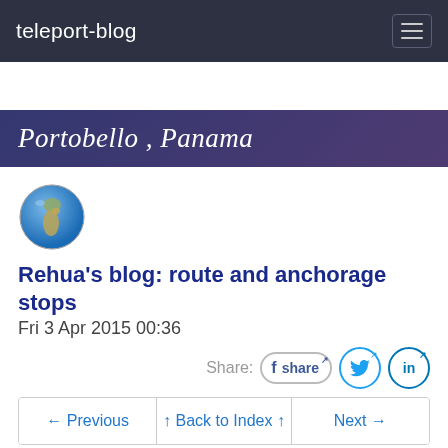teleport-blog
Portobello , Panama
[Figure (illustration): Globe emoji / earth icon showing Europe and Africa]
Rehua's blog: route and anchorage stops
Fri 3 Apr 2015 00:36
Share: f share [Twitter] [in]
← Previous  ↑ Back to Index ↑  Next →
09:33.431N 79:39.573W